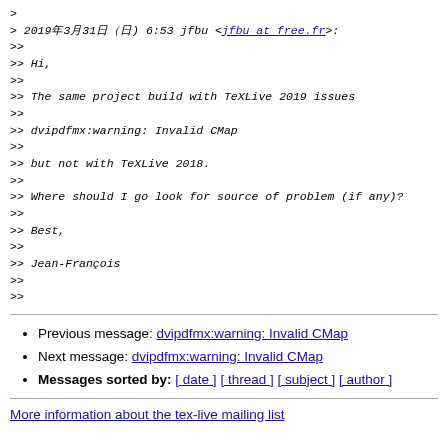> 
> 2019年3月31日（日) 6:53 jfbu <jfbu at free.fr>:
>>
>> Hi,
>>
>> The same project build with TeXLive 2019 issues
>>
>> dvipdfmx:warning: Invalid CMap
>>
>> but not with TeXLive 2018.
>>
>> Where should I go look for source of problem (if any)?
>>
>> Best,
>>
>> Jean-François
>>
>>
Previous message: dvipdfmx:warning: Invalid CMap
Next message: dvipdfmx:warning: Invalid CMap
Messages sorted by: [ date ] [ thread ] [ subject ] [ author ]
More information about the tex-live mailing list